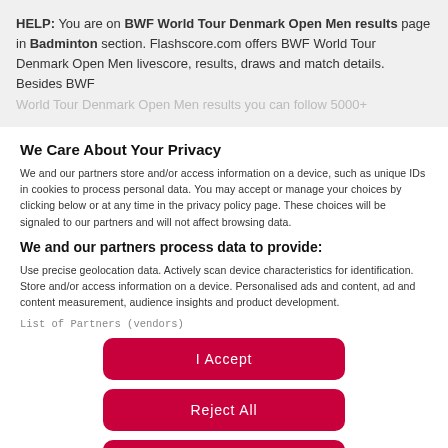HELP: You are on BWF World Tour Denmark Open Men results page in Badminton section. Flashscore.com offers BWF World Tour Denmark Open Men livescore, results, draws and match details. Besides BWF World Tour Denmark Open Men results you can follow 5000+
We Care About Your Privacy
We and our partners store and/or access information on a device, such as unique IDs in cookies to process personal data. You may accept or manage your choices by clicking below or at any time in the privacy policy page. These choices will be signaled to our partners and will not affect browsing data.
We and our partners process data to provide:
Use precise geolocation data. Actively scan device characteristics for identification. Store and/or access information on a device. Personalised ads and content, ad and content measurement, audience insights and product development.
List of Partners (vendors)
I Accept
Reject All
Show Purposes